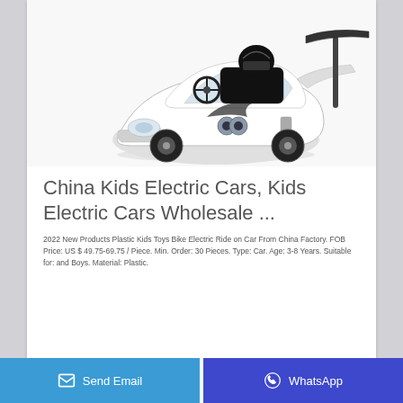[Figure (photo): White children's electric ride-on car toy with black racing seat and push handle bar, viewed from an angle]
China Kids Electric Cars, Kids Electric Cars Wholesale ...
2022 New Products Plastic Kids Toys Bike Electric Ride on Car From China Factory. FOB Price: US $ 49.75-69.75 / Piece. Min. Order: 30 Pieces. Type: Car. Age: 3-8 Years. Suitable for: and Boys. Material: Plastic.
Send Email | WhatsApp